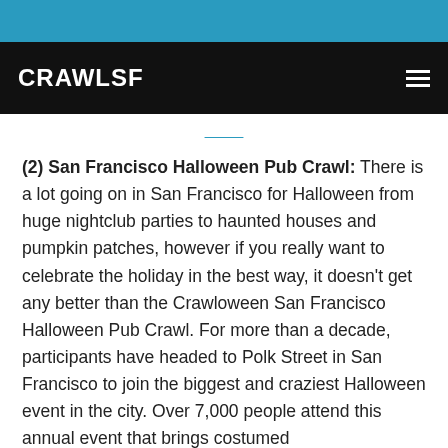CRAWLSF
(2) San Francisco Halloween Pub Crawl: There is a lot going on in San Francisco for Halloween from huge nightclub parties to haunted houses and pumpkin patches, however if you really want to celebrate the holiday in the best way, it doesn't get any better than the Crawloween San Francisco Halloween Pub Crawl. For more than a decade, participants have headed to Polk Street in San Francisco to join the biggest and craziest Halloween event in the city. Over 7,000 people attend this annual event that brings costumed